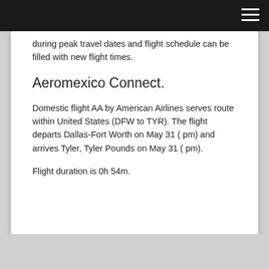during peak travel dates and flight schedule can be filled with new flight times.
Aeromexico Connect.
Domestic flight AA by American Airlines serves route within United States (DFW to TYR). The flight departs Dallas-Fort Worth on May 31 ( pm) and arrives Tyler, Tyler Pounds on May 31 ( pm).
Flight duration is 0h 54m.